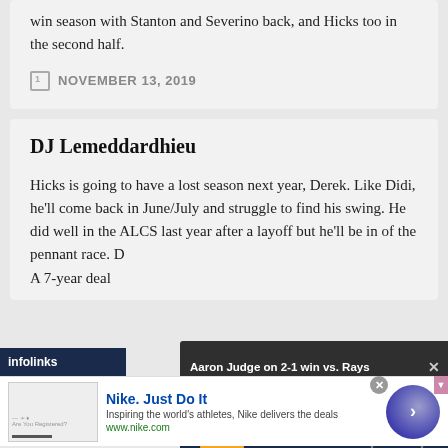win season with Stanton and Severino back, and Hicks too in the second half.
NOVEMBER 13, 2019
DJ Lemeddardhieu
Hicks is going to have a lost season next year, Derek. Like Didi, he'll come back in June/July and struggle to find his swing. He did well in the ALCS last year after a layoff but he'll be in of the pennant race. A 7-year deal...
[Figure (screenshot): Video overlay bar reading 'Aaron Judge on 2-1 win vs. Rays' with close button, overlaying a video thumbnail showing Yankees logo and stadium seating in dark blue]
[Figure (screenshot): Advertisement bar: Nike. Just Do It — Inspiring the world's athletes, Nike delivers the deals. www.nike.com — with circular button]